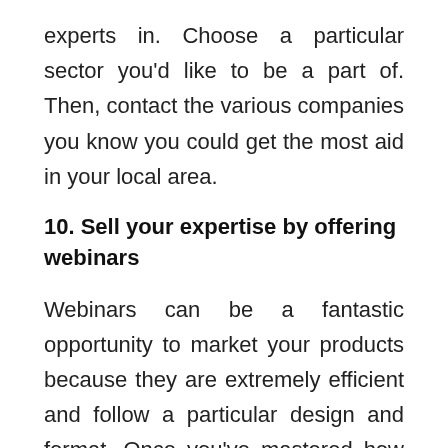experts in. Choose a particular sector you'd like to be a part of. Then, contact the various companies you know you could get the most aid in your local area.
10. Sell your expertise by offering webinars
Webinars can be a fantastic opportunity to market your products because they are extremely efficient and follow a particular design and format. Once you've mastered how to conduct effective webinars, you'll be able to make great strides in this area, delivering huge value to your participants and demonstrating the